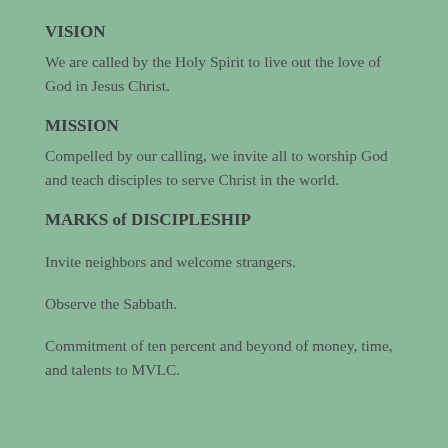VISION
We are called by the Holy Spirit to live out the love of God in Jesus Christ.
MISSION
Compelled by our calling, we invite all to worship God and teach disciples to serve Christ in the world.
MARKS of DISCIPLESHIP
Invite neighbors and welcome strangers.
Observe the Sabbath.
Commitment of ten percent and beyond of money, time, and talents to MVLC.